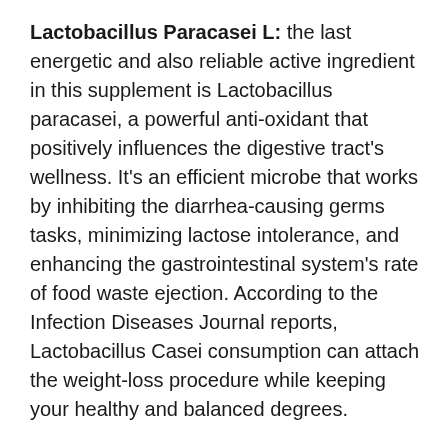Lactobacillus Paracasei L: the last energetic and also reliable active ingredient in this supplement is Lactobacillus paracasei, a powerful anti-oxidant that positively influences the digestive tract's wellness. It's an efficient microbe that works by inhibiting the diarrhea-causing germs tasks, minimizing lactose intolerance, and enhancing the gastrointestinal system's rate of food waste ejection. According to the Infection Diseases Journal reports, Lactobacillus Casei consumption can attach the weight-loss procedure while keeping your healthy and balanced degrees.